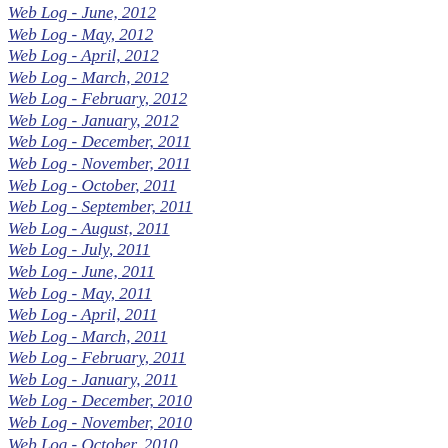Web Log - June, 2012
Web Log - May, 2012
Web Log - April, 2012
Web Log - March, 2012
Web Log - February, 2012
Web Log - January, 2012
Web Log - December, 2011
Web Log - November, 2011
Web Log - October, 2011
Web Log - September, 2011
Web Log - August, 2011
Web Log - July, 2011
Web Log - June, 2011
Web Log - May, 2011
Web Log - April, 2011
Web Log - March, 2011
Web Log - February, 2011
Web Log - January, 2011
Web Log - December, 2010
Web Log - November, 2010
Web Log - October, 2010
Web Log - September, 2010
Web Log - August, 2010
Web Log - July, 2010
Web Log - June, 2010